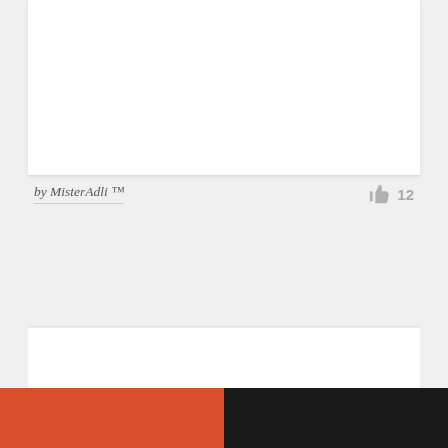[Figure (illustration): Top white card area (partially visible, cropped at top)]
by MisterAdli ™
[Figure (logo): FOKS brand logo featuring a stylized fox head formed by swirling orange and black lines, with the word FOKS. below in spaced uppercase letters, the period in orange]
[Figure (illustration): Color palette bar showing orange (#d94f2b) on the left half and black (#1a1a1a) on the right half]